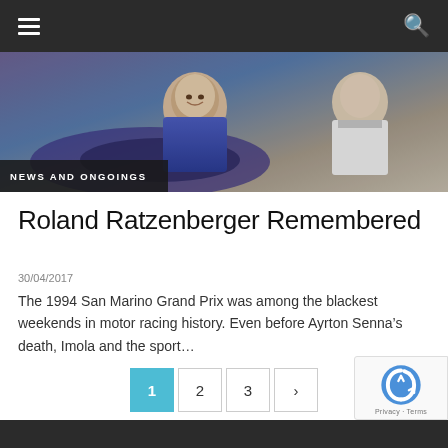Navigation bar with hamburger menu and search icon
[Figure (photo): Racing drivers in car cockpits, one in a blue jacket smiling, another in white racing suit visible at right edge. News and Ongoings label overlaid at bottom left.]
Roland Ratzenberger Remembered
30/04/2017
The 1994 San Marino Grand Prix was among the blackest weekends in motor racing history. Even before Ayrton Senna’s death, Imola and the sport…